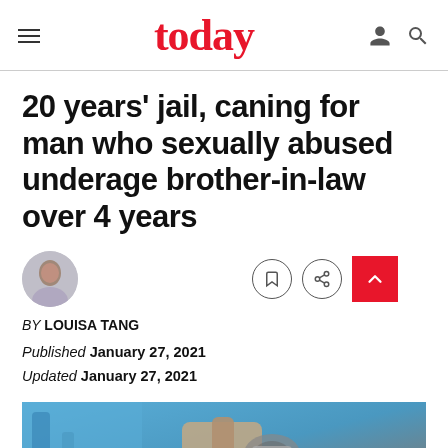today
20 years' jail, caning for man who sexually abused underage brother-in-law over 4 years
BY LOUISA TANG
Published January 27, 2021
Updated January 27, 2021
[Figure (photo): Close-up photo of hands in handcuffs against a blue and grey background]